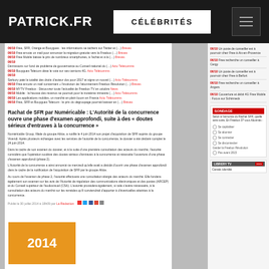PATRICK.FR | CÉLÉBRITÉS
[Figure (screenshot): Screenshot of patrick.fr website showing a news article about 'Rachat de SFR par Numéricable : L'Autorité de la concurrence ouvre une phase d'examen approfondi, suite à des « doutes sérieux d'entraves à la concurrence »' with news list on left and sidebar on right]
Voir
2014